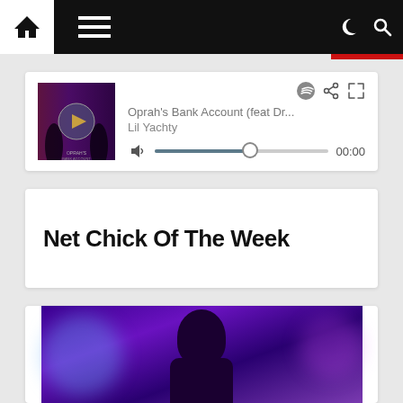Navigation bar with home icon, hamburger menu, moon icon, search icon
[Figure (screenshot): Audio player card showing album art for Oprah's Bank Account feat Dr... by Lil Yachty with Spotify icon, share icon, expand icon, volume icon, progress bar, and 00:00 timestamp]
Net Chick Of The Week
[Figure (photo): Photo of a woman at what appears to be a nightclub or event with purple and blue lighting]